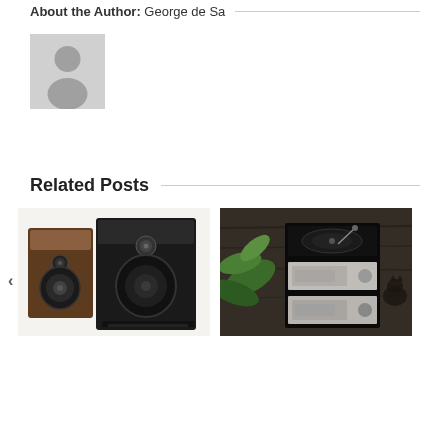About the Author: George de Sa
[Figure (photo): Generic author avatar placeholder image - silhouette of a person on gray background]
Related Posts
[Figure (photo): Two bookshelf speakers, one with walnut wood finish and one black, photographed on white background]
[Figure (photo): Hi-fi audio equipment stack with turntable on top, CD player and amplifier below, surrounded by green leaves on dark wood background]